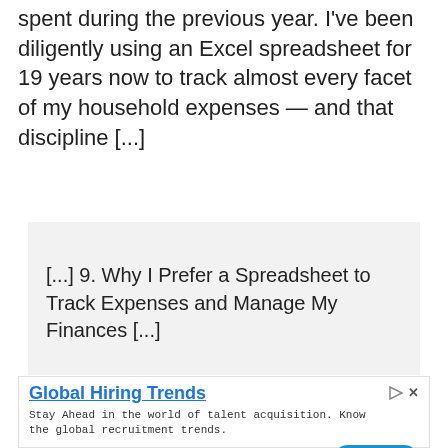spent during the previous year. I've been diligently using an Excel spreadsheet for 19 years now to track almost every facet of my household expenses — and that discipline [...]
[...] 9. Why I Prefer a Spreadsheet to Track Expenses and Manage My Finances [...]
[Figure (other): Advertisement banner for Global Hiring Trends by RChilli Inc with an Open button]